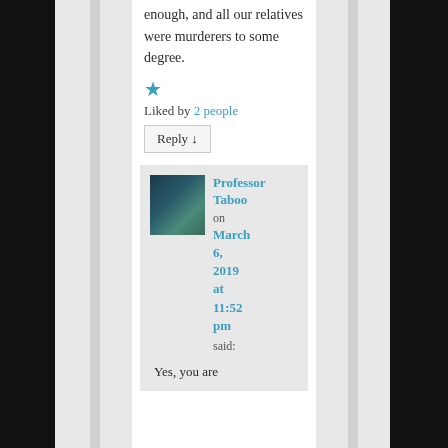enough, and all our relatives were murderers to some degree.
★
Liked by 2 people
Reply ↓
Professor Taboo on March 6, 2019 at 11:52 pm said:
Yes, you are